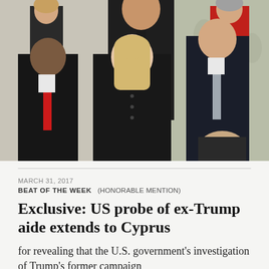[Figure (photo): Group of people standing together at what appears to be a formal event. Includes a woman in a black dress with blonde hair in the center, a man in a dark suit with a black-and-white striped tie behind her, a man in a dark suit with a red tie to the left, and a man in a dark suit with a gray tie to the right. Several other figures visible in background.]
MARCH 31, 2017
BEAT OF THE WEEK   (HONORABLE MENTION)
Exclusive: US probe of ex-Trump aide extends to Cyprus
for revealing that the U.S. government’s investigation of Trump’s former campaign